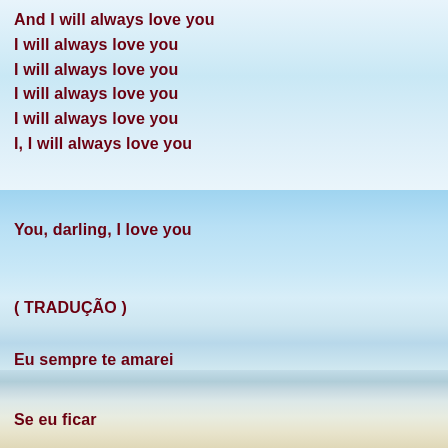And I will always love you
I will always love you
I will always love you
I will always love you
I will always love you
I, I will always love you
You, darling, I love you
( TRADUÇÃO )
Eu sempre te amarei
Se eu ficar